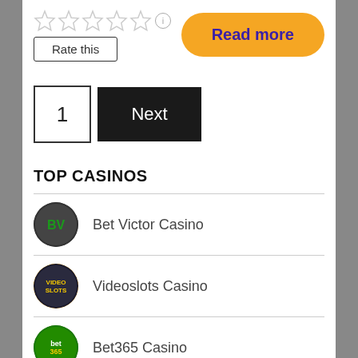[Figure (screenshot): Star rating row (5 empty stars) with info icon, and a Rate this button below]
[Figure (screenshot): Read more button in yellow/amber with dark blue bold text]
1
Next
TOP CASINOS
Bet Victor Casino
Videoslots Casino
Bet365 Casino
All British Casino